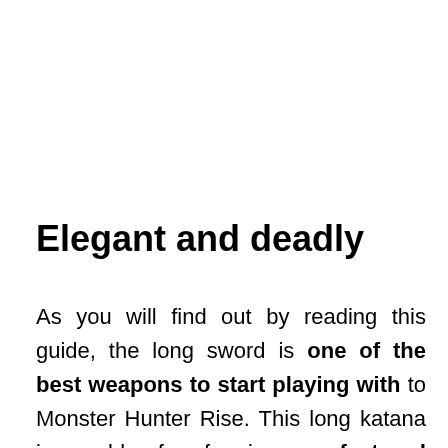Elegant and deadly
As you will find out by reading this guide, the long sword is one of the best weapons to start playing with to Monster Hunter Rise. This long katana is capable of performing very fast and elegant moves without giving up the attack in the least. Precisely by virtue of this excellent balance between mobility and damage we believe